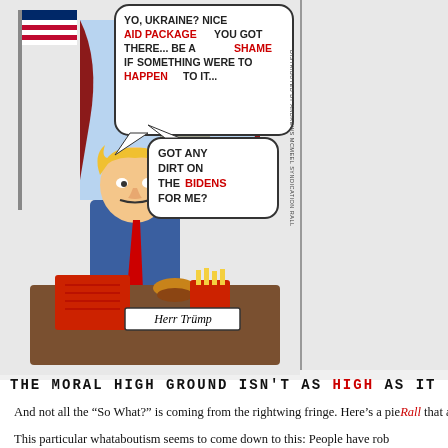[Figure (illustration): Political cartoon (left panel) showing a caricature of Donald Trump sitting at a desk in the Oval Office, talking on a red phone. He has blonde hair and a red tie. Speech bubble at top says: 'YO, UKRAINE? NICE AID PACKAGE YOU GOT THERE... BE A SHAME IF SOMETHING WERE TO HAPPEN TO IT...' with AID PACKAGE, SHAME, and HAPPEN highlighted in red. A second speech bubble says: 'GOT ANY DIRT ON THE BIDENS FOR ME?' with BIDENS in red. A nameplate reads 'Herr Trump'. American flag and curtains visible in background. McDonald's fries and burger on desk.]
[Figure (illustration): Political cartoon (right panel, partially cropped) showing a caricature of a Black man in a dark suit pointing at a calendar showing 2016. Speech bubble partially visible reading 'PROSECUTOR... THAT NO-SHOW OVER THERE,']
THE MORAL HIGH GROUND ISN'T AS HIGH AS IT
And not all the "So What?" is coming from the rightwing fringe. Here's a piece by Ted Rall that appears unanchored to either left or right.
This particular whataboutism seems to come down to this: People have rob